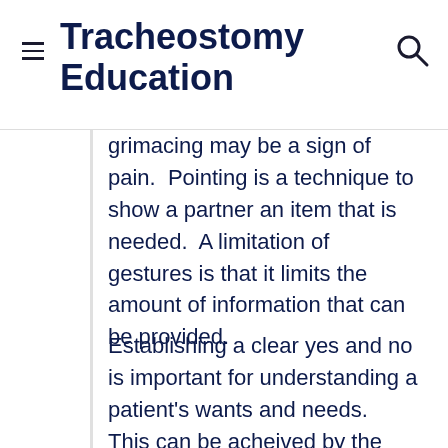Tracheostomy Education
grimacing may be a sign of pain.  Pointing is a technique to show a partner an item that is needed.  A limitation of gestures is that it limits the amount of information that can be provided.
Establishing a clear yes and no is important for understanding a patient's wants and needs.  This can be acheived by the